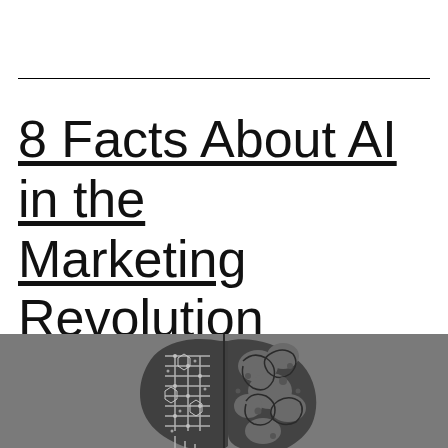8 Facts About AI in the Marketing Revolution
[Figure (illustration): Split brain illustration: left half showing circuit board / digital AI patterns in dark outline, right half showing organic brain folds in gray, on a gray background]